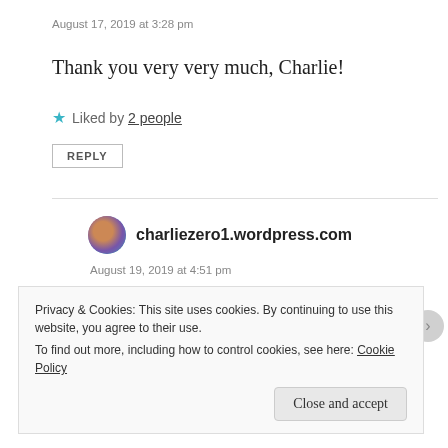August 17, 2019 at 3:28 pm
Thank you very very much, Charlie!
Liked by 2 people
REPLY
charliezero1.wordpress.com
August 19, 2019 at 4:51 pm
You are welcome, Watt. 🙂
Privacy & Cookies: This site uses cookies. By continuing to use this website, you agree to their use. To find out more, including how to control cookies, see here: Cookie Policy
Close and accept